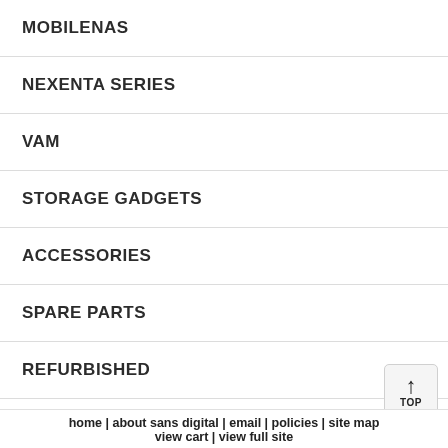MOBILENAS
NEXENTA SERIES
VAM
STORAGE GADGETS
ACCESSORIES
SPARE PARTS
REFURBISHED
home | about sans digital | email | policies | site map | view cart | view full site